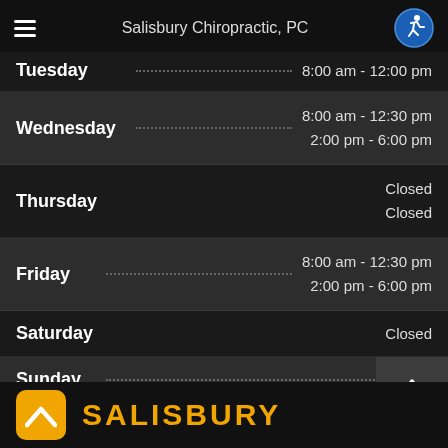Salisbury Chiropractic, PC
| Day | Hours |
| --- | --- |
| Tuesday | 8:00 am - 12:00 pm |
| Wednesday | 8:00 am - 12:30 pm
2:00 pm - 6:00 pm |
| Thursday | Closed
Closed |
| Friday | 8:00 am - 12:30 pm
2:00 pm - 6:00 pm |
| Saturday | Closed |
| Sunday | Closed |
[Figure (logo): Salisbury Chiropractic logo with orange background and white chevron icon, with SALISBURY text in orange]